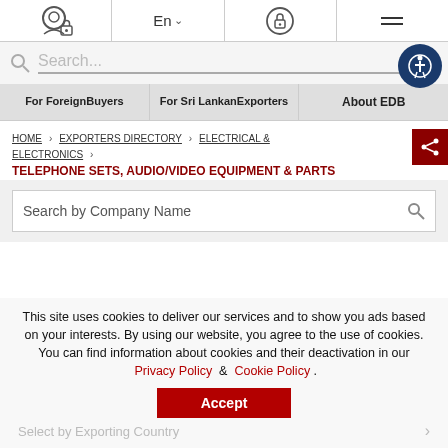Navigation bar with user/lock icon, language selector En, lock icon, and menu icon
Search...
For Foreign Buyers | For Sri Lankan Exporters | About EDB
HOME > EXPORTERS DIRECTORY > ELECTRICAL & ELECTRONICS > TELEPHONE SETS, AUDIO/VIDEO EQUIPMENT & PARTS
Search by Company Name
This site uses cookies to deliver our services and to show you ads based on your interests. By using our website, you agree to the use of cookies. You can find information about cookies and their deactivation in our Privacy Policy & Cookie Policy .
Accept
Select by Exporting Country